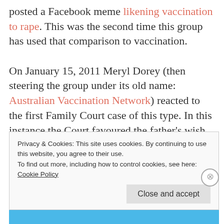posted a Facebook meme likening vaccination to rape. This was the second time this group has used that comparison to vaccination.

On January 15, 2011 Meryl Dorey (then steering the group under its old name: Australian Vaccination Network) reacted to the first Family Court case of this type. In this instance the Court favoured the father's wish to have his five year old daughter vaccinated. Dorey
Privacy & Cookies: This site uses cookies. By continuing to use this website, you agree to their use.
To find out more, including how to control cookies, see here:
Cookie Policy
Close and accept